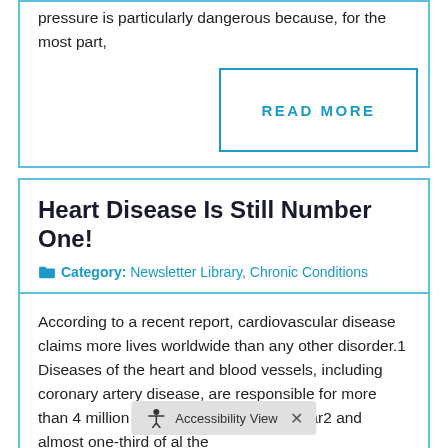pressure is particularly dangerous because, for the most part,
[Figure (other): READ MORE button with blue border]
Heart Disease Is Still Number One!
Category: Newsletter Library, Chronic Conditions
According to a recent report, cardiovascular disease claims more lives worldwide than any other disorder.1 Diseases of the heart and blood vessels, including coronary artery disease, are responsible for more than 4 million deaths in Europe each year2 and almost one-third of al the
[Figure (other): Accessibility View toolbar overlay]